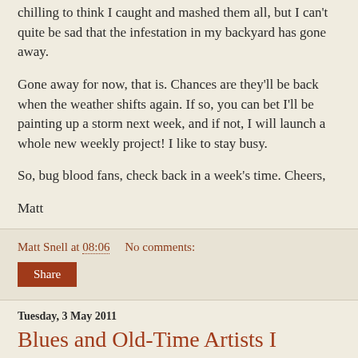chilling to think I caught and mashed them all, but I can't quite be sad that the infestation in my backyard has gone away.
Gone away for now, that is. Chances are they'll be back when the weather shifts again. If so, you can bet I'll be painting up a storm next week, and if not, I will launch a whole new weekly project! I like to stay busy.
So, bug blood fans, check back in a week's time. Cheers,
Matt
Matt Snell at 08:06    No comments:
Share
Tuesday, 3 May 2011
Blues and Old-Time Artists I Admire: Roscoe Holcomb